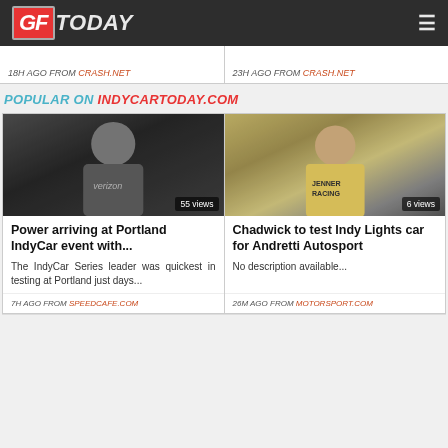GFToday
18H AGO FROM CRASH.NET
23H AGO FROM CRASH.NET
POPULAR ON INDYCARTODAY.COM
[Figure (photo): Racing driver in black Verizon suit standing in pit lane, 55 views]
Power arriving at Portland IndyCar event with...
The IndyCar Series leader was quickest in testing at Portland just days...
7H AGO FROM SPEEDCAFE.COM
[Figure (photo): Woman in yellow and white Jenner Racing suit smiling, 6 views]
Chadwick to test Indy Lights car for Andretti Autosport
No description available...
26M AGO FROM MOTORSPORT.COM